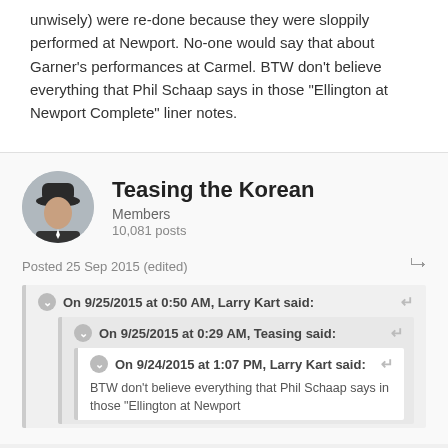unwisely) were re-done because they were sloppily performed at Newport. No-one would say that about Garner's performances at Carmel. BTW don't believe everything that Phil Schaap says in those "Ellington at Newport Complete" liner notes.
Teasing the Korean
Members
10,081 posts
Posted 25 Sep 2015 (edited)
On 9/25/2015 at 0:50 AM, Larry Kart said:
On 9/25/2015 at 0:29 AM, Teasing said:
On 9/24/2015 at 1:07 PM, Larry Kart said:
BTW don't believe everything that Phil Schaap says in those "Ellington at Newport